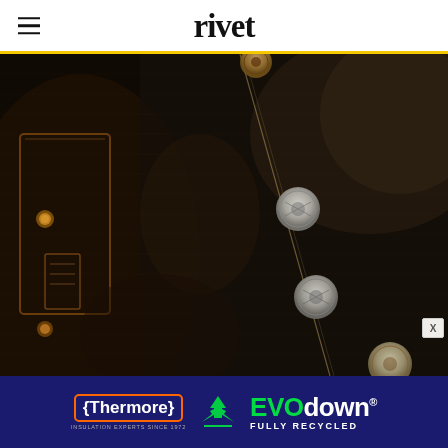rivet
[Figure (photo): Close-up photograph of dark denim jeans showing fly button closure with multiple silver/nickel snap buttons and rivets, dark indigo/black denim fabric texture, amber stitching visible]
[Figure (logo): Advertisement banner for Thermore EVO down - dark navy background with Thermore logo (orange border), green recycling arrows icon, and EVO down text in green and white with FULLY RECYCLED tagline]